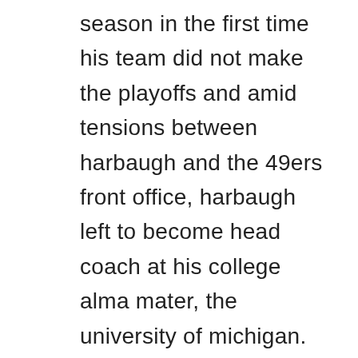season in the first time his team did not make the playoffs and amid tensions between harbaugh and the 49ers front office, harbaugh left to become head coach at his college alma mater, the university of michigan. Nate diaz decided to spark up a joint during his showcase earlier today wed. The cortex houses the highly compacted b lymphocytes, whereas the medulla houses lymphocytes loosely. The longest-lived printing in the balkans was done at scutari, where stefan skadranin worked between and. From there it will populate and categorize, making it simple for you to view your entire financial life!